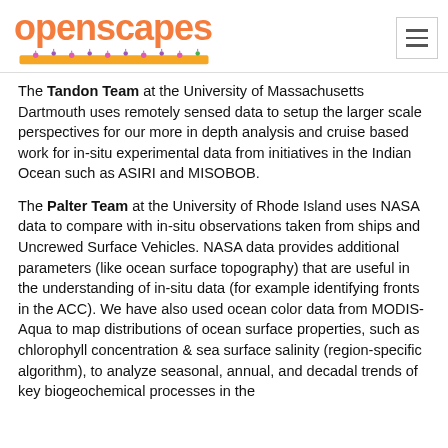openscapes
The Tandon Team at the University of Massachusetts Dartmouth uses remotely sensed data to setup the larger scale perspectives for our more in depth analysis and cruise based work for in-situ experimental data from initiatives in the Indian Ocean such as ASIRI and MISOBOB.
The Palter Team at the University of Rhode Island uses NASA data to compare with in-situ observations taken from ships and Uncrewed Surface Vehicles. NASA data provides additional parameters (like ocean surface topography) that are useful in the understanding of in-situ data (for example identifying fronts in the ACC). We have also used ocean color data from MODIS-Aqua to map distributions of ocean surface properties, such as chlorophyll concentration & sea surface salinity (region-specific algorithm), to analyze seasonal, annual, and decadal trends of key biogeochemical processes in the